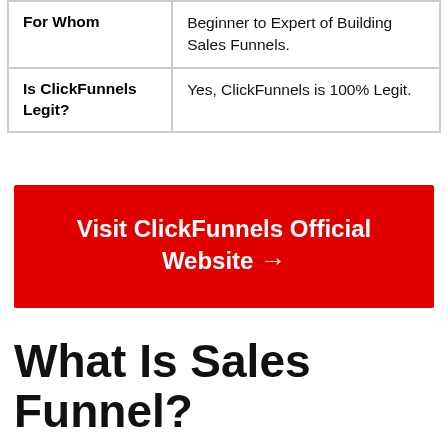| For Whom | Beginner to Expert of Building Sales Funnels. |
| Is ClickFunnels Legit? | Yes, ClickFunnels is 100% Legit. |
Visit ClickFunnels Official Website →
What Is Sales Funnel?